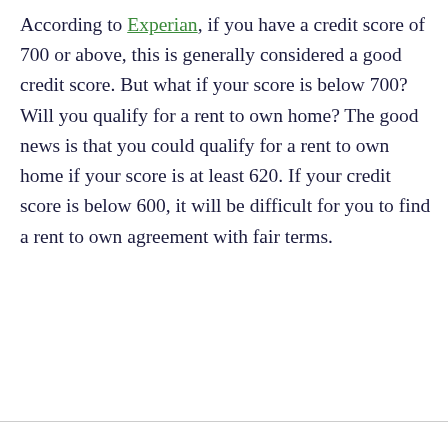According to Experian, if you have a credit score of 700 or above, this is generally considered a good credit score. But what if your score is below 700? Will you qualify for a rent to own home? The good news is that you could qualify for a rent to own home if your score is at least 620. If your credit score is below 600, it will be difficult for you to find a rent to own agreement with fair terms.